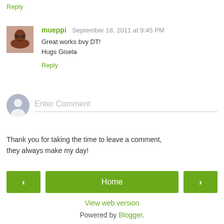Reply
mueppi  September 18, 2011 at 9:45 PM
Great works bvy DT!
Hugs Gisela
Reply
Enter Comment
Thank you for taking the time to leave a comment, they always make my day!
‹    Home    ›
View web version
Powered by Blogger.